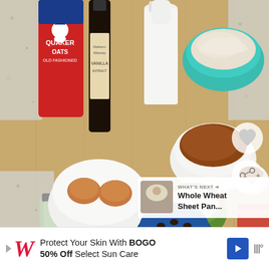[Figure (photo): Overhead photo of baking ingredients on a wooden cutting board: Quaker Oats container, vanilla extract bottle, milk bottle, teal bowl of flour, small jar, measuring cup with pumpkin puree, white bowl with brown liquid (maple syrup), white bowl with two brown eggs, green bowl with egg white, small white bowl with spices, blue bowl with chocolate chips, and partial view of oat container. Granite countertop visible in background. Social media UI overlay with heart and share buttons, and a 'What's Next' overlay showing 'Whole Wheat Sheet Pan...' thumbnail.]
WHAT'S NEXT → Whole Wheat Sheet Pan...
Protect Your Skin With BOGO 50% Off Select Sun Care